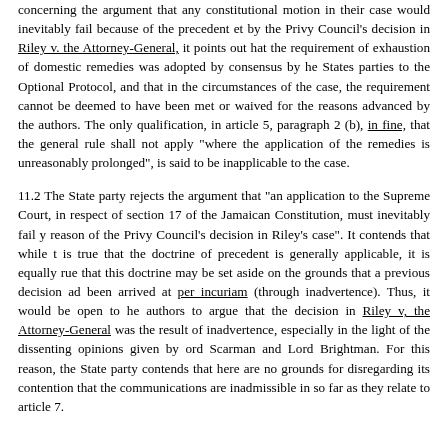concerning the argument that any constitutional motion in their case would inevitably fail because of the precedent et by the Privy Council's decision in Riley v. the Attorney-General, it points out hat the requirement of exhaustion of domestic remedies was adopted by consensus by he States parties to the Optional Protocol, and that in the circumstances of the case, the requirement cannot be deemed to have been met or waived for the reasons advanced by the authors. The only qualification, in article 5, paragraph 2 (b), in fine, that the general rule shall not apply "where the application of the remedies is unreasonably prolonged", is said to be inapplicable to the case.
11.2 The State party rejects the argument that "an application to the Supreme Court, in respect of section 17 of the Jamaican Constitution, must inevitably fail y reason of the Privy Council's decision in Riley's case". It contends that while t is true that the doctrine of precedent is generally applicable, it is equally rue that this doctrine may be set aside on the grounds that a previous decision ad been arrived at per incuriam (through inadvertence). Thus, it would be open to he authors to argue that the decision in Riley v, the Attorney-General was the result of inadvertence, especially in the light of the dissenting opinions given by ord Scarman and Lord Brightman. For this reason, the State party contends that here are no grounds for disregarding its contention that the communications are inadmissible in so far as they relate to article 7.